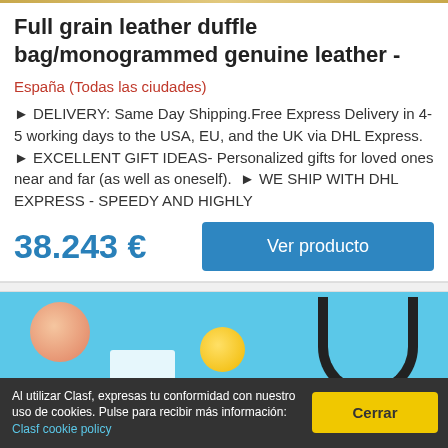Full grain leather duffle bag/monogrammed genuine leather -
España (Todas las ciudades)
► DELIVERY: Same Day Shipping.Free Express Delivery in 4-5 working days to the USA, EU, and the UK via DHL Express.  ► EXCELLENT GIFT IDEAS- Personalized gifts for loved ones near and far (as well as oneself).  ► WE SHIP WITH DHL EXPRESS - SPEEDY AND HIGHLY
38.243 €
Ver producto
[Figure (photo): Product image area showing a blue background with citrus fruit and a black bag handle visible]
Al utilizar Clasf, expresas tu conformidad con nuestro uso de cookies. Pulse para recibir más información: Clasf cookie policy
Cerrar